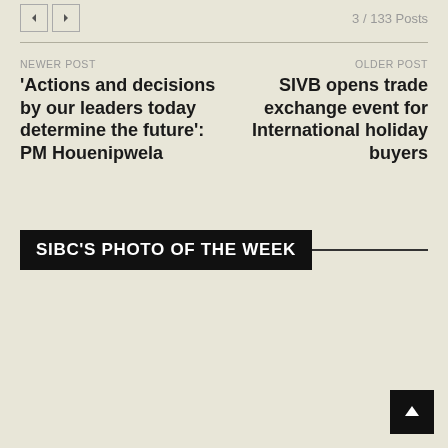3 / 133 Posts
NEWER POST
'Actions and decisions by our leaders today determine the future': PM Houenipwela
OLDER POST
SIVB opens trade exchange event for International holiday buyers
SIBC'S PHOTO OF THE WEEK